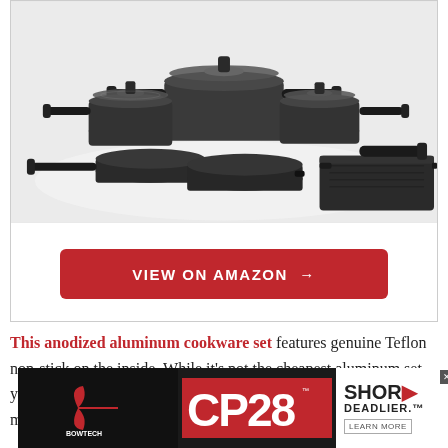[Figure (photo): Dark anodized aluminum cookware set including pots with glass lids, frying pans, and a square griddle pan, arranged on a white background]
VIEW ON AMAZON →
This anodized aluminum cookware set features genuine Teflon non-stick on the inside. While it's not the cheapest aluminum set you can find, the large number of features and pieces in this set mean that it provides excellent value.
[Figure (photo): Advertisement banner for Bowtech CP28 crossbow - SHOR DEADLIER. LEARN MORE]